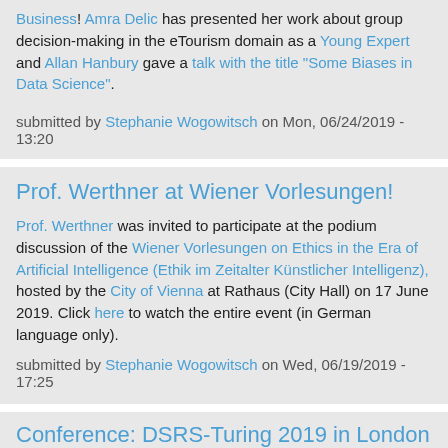Business! Amra Delic has presented her work about group decision-making in the eTourism domain as a Young Expert and Allan Hanbury gave a talk with the title "Some Biases in Data Science".
submitted by Stephanie Wogowitsch on Mon, 06/24/2019 - 13:20
Prof. Werthner at Wiener Vorlesungen!
Prof. Werthner was invited to participate at the podium discussion of the Wiener Vorlesungen on Ethics in the Era of Artificial Intelligence (Ethik im Zeitalter Künstlicher Intelligenz), hosted by the City of Vienna at Rathaus (City Hall) on 17 June 2019. Click here to watch the entire event (in German language only).
submitted by Stephanie Wogowitsch on Wed, 06/19/2019 - 17:25
Conference: DSRS-Turing 2019 in London
The 1st International Alan Turing Conference on Decision Support